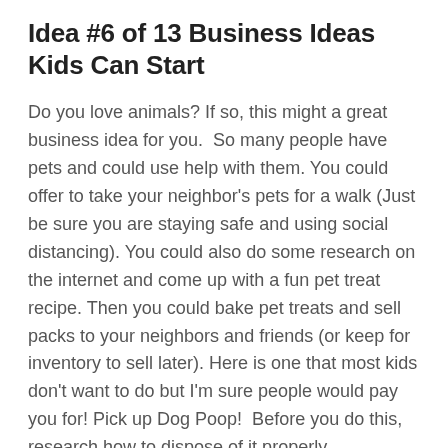Idea #6 of 13 Business Ideas Kids Can Start
Do you love animals? If so, this might a great business idea for you.  So many people have pets and could use help with them. You could offer to take your neighbor's pets for a walk (Just be sure you are staying safe and using social distancing). You could also do some research on the internet and come up with a fun pet treat recipe. Then you could bake pet treats and sell packs to your neighbors and friends (or keep for inventory to sell later). Here is one that most kids don't want to do but I'm sure people would pay you for! Pick up Dog Poop!  Before you do this, research how to dispose of it properly